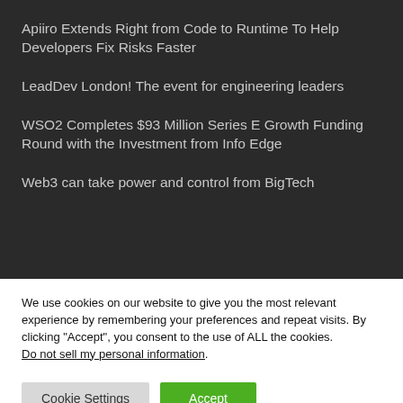Apiiro Extends Right from Code to Runtime To Help Developers Fix Risks Faster
LeadDev London! The event for engineering leaders
WSO2 Completes $93 Million Series E Growth Funding Round with the Investment from Info Edge
Web3 can take power and control from BigTech
We use cookies on our website to give you the most relevant experience by remembering your preferences and repeat visits. By clicking “Accept”, you consent to the use of ALL the cookies. Do not sell my personal information.